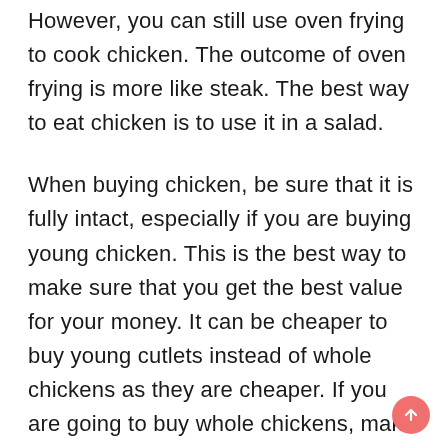However, you can still use oven frying to cook chicken. The outcome of oven frying is more like steak. The best way to eat chicken is to use it in a salad.
When buying chicken, be sure that it is fully intact, especially if you are buying young chicken. This is the best way to make sure that you get the best value for your money. It can be cheaper to buy young cutlets instead of whole chickens as they are cheaper. If you are going to buy whole chickens, make sure that you have time to allow the chicken to cook thoroughly.
Another thing to consider is how to